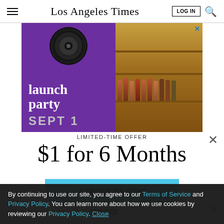Los Angeles Times
[Figure (illustration): Advertisement banner: purple left panel with vinyl record and 'launch party SEPT 1' text; right panel showing bar shelves with wine bottles in amber lighting. Close button top right.]
LIMITED-TIME OFFER
$1 for 6 Months
SUBSCRIBE NOW
By continuing to use our site, you agree to our Terms of Service and Privacy Policy. You can learn more about how we use cookies by reviewing our Privacy Policy. Close